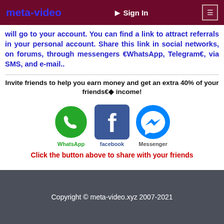meta-video | Sign In
will go to your account. You can find a link to attract referrals in your personal account. Share this link in social networks, on forums, through messengers (WhatsApp, Telegram), via SMS, and e-mail..
Invite friends to help you earn money and get an extra 40% of your friends’ income!
[Figure (infographic): Social sharing icons: WhatsApp (green phone icon), Facebook (blue f icon), Messenger (blue lightning icon)]
Click the button above to share with your friends
Copyright © meta-video.xyz 2007-2021